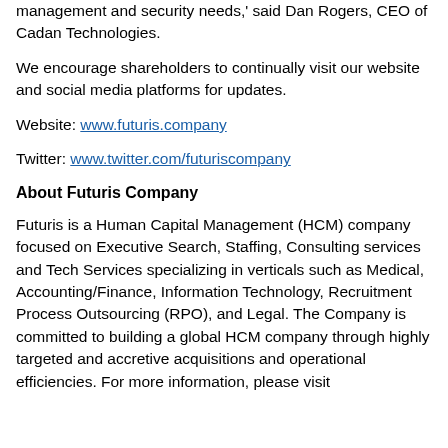management and security needs,' said Dan Rogers, CEO of Cadan Technologies.
We encourage shareholders to continually visit our website and social media platforms for updates.
Website: www.futuris.company
Twitter: www.twitter.com/futuriscompany
About Futuris Company
Futuris is a Human Capital Management (HCM) company focused on Executive Search, Staffing, Consulting services and Tech Services specializing in verticals such as Medical, Accounting/Finance, Information Technology, Recruitment Process Outsourcing (RPO), and Legal. The Company is committed to building a global HCM company through highly targeted and accretive acquisitions and operational efficiencies. For more information, please visit